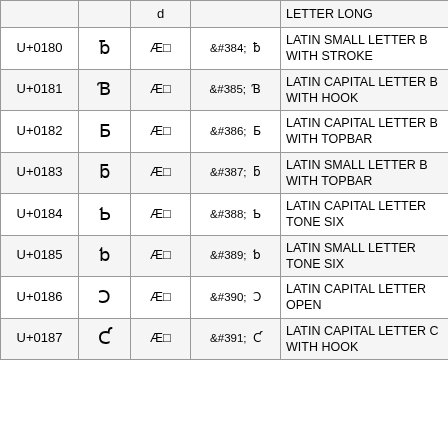| Code | Char | Block | Entity | Char | Name |
| --- | --- | --- | --- | --- | --- |
|  |  | d |  |  | LETTER LONG |
| U+0180 | ƀ | Æ□ | &#384; | ƀ | LATIN SMALL LETTER B WITH STROKE |
| U+0181 | Ɓ | Æ□ | &#385; | Ɓ | LATIN CAPITAL LETTER B WITH HOOK |
| U+0182 | Ƃ | Æ□ | &#386; | Ƃ | LATIN CAPITAL LETTER B WITH TOPBAR |
| U+0183 | ƃ | Æ□ | &#387; | ƃ | LATIN SMALL LETTER B WITH TOPBAR |
| U+0184 | Ƅ | Æ□ | &#388; | Ƅ | LATIN CAPITAL LETTER TONE SIX |
| U+0185 | ƅ | Æ□ | &#389; | ƅ | LATIN SMALL LETTER TONE SIX |
| U+0186 | Ɔ | Æ□ | &#390; | Ɔ | LATIN CAPITAL LETTER OPEN |
| U+0187 | Ƈ | Æ□ | &#391; | Ƈ | LATIN CAPITAL LETTER C WITH HOOK |